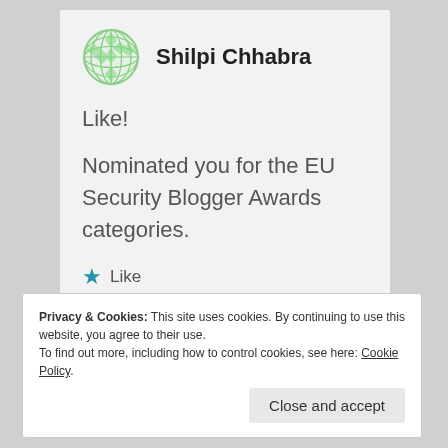[Figure (logo): Green geometric globe/sphere logo icon made of diamond/rhombus patterns]
Shilpi Chhabra
Like!
Nominated you for the EU Security Blogger Awards categories.
★ Like
Privacy & Cookies: This site uses cookies. By continuing to use this website, you agree to their use.
To find out more, including how to control cookies, see here: Cookie Policy
Close and accept